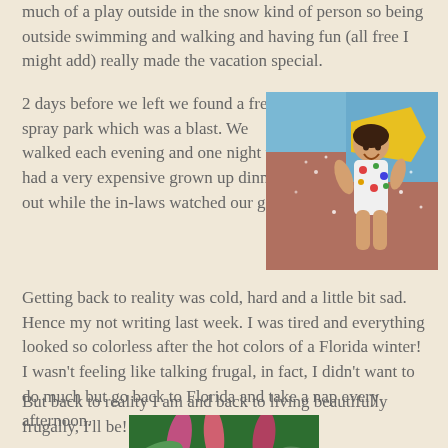much of a play outside in the snow kind of person so being outside swimming and walking and having fun (all free I might add) really made the vacation special.
2 days before we left we found a free spray park which was a blast. We walked each evening and one night we had a very expensive grown up dinner out while the in-laws watched our girl.
[Figure (photo): A smiling young child in a colorful polka-dot swimsuit running through a spray park with water sprinkles around her. Colorful painted wall in background.]
Getting back to reality was cold, hard and a little bit sad. Hence my not writing last week. I was tired and everything looked so colorless after the hot colors of a Florida winter! I wasn't feeling like talking frugal, in fact, I didn't want to do much but go back to Florida and take a nap every afternoon.
But back to reality I am and back to living beautifully frugally, I'll be!
[Figure (photo): Close-up photo of tropical green and pink foliage plants.]